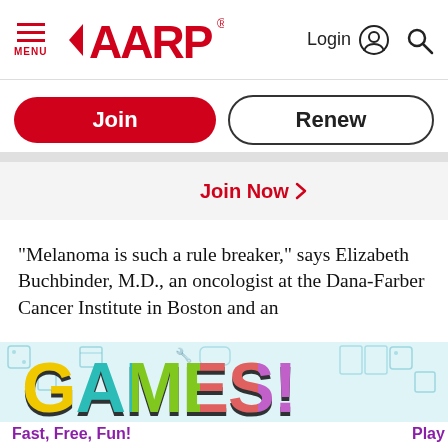MENU | AARP | Login | Search
Join
Renew
Join Now >
"Melanoma is such a rule breaker," says Elizabeth Buchbinder, M.D., an oncologist at the Dana-Farber Cancer Institute in Boston and an
[Figure (illustration): GAMES! colorful logo on light blue patterned background with game-related icons. Large block letters spelling GAMES! each in different colors: G=yellow, A=teal/green, M=green, E=red/salmon, S=purple with dark outlines.]
Fast, Free, Fun! | Play